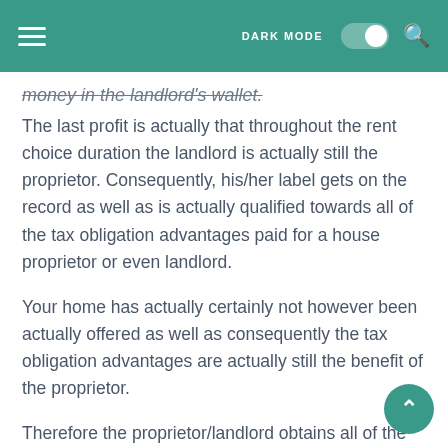DARK MODE [toggle]
money in the landlord's wallet.
The last profit is actually that throughout the rent choice duration the landlord is actually still the proprietor. Consequently, his/her label gets on the record as well as is actually qualified towards all of the tax obligation advantages paid for a house proprietor or even landlord.
Your home has actually certainly not however been actually offered as well as consequently the tax obligation advantages are actually still the benefit of the proprietor.
Therefore the proprietor/landlord obtains all of the tax obligation benefits of possessing a leasing residential or commercial home, pays down the home loan, as well remains to increase equity in his/her residential or commercial home without the migraines of a